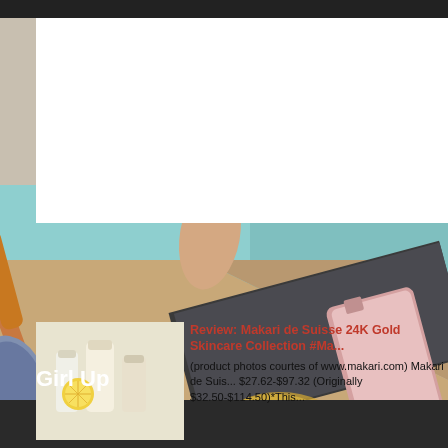[Figure (photo): Background makeup flatlay photo showing cosmetics including a makeup brush, eyeshadow palette, nail, and perfume bottle on teal/peach background]
[Figure (photo): Thumbnail of Makari de Suisse skincare product bottles on light background]
Review: Makari de Suisse 24K Gold Skincare Collection #Ma...
(product photos courtes of www.makari.com) Makari de Suis... $27.62-$97.32 (Originally $32.50-$114.50)*This...
[Figure (photo): Thumbnail of SMARTBROW eyebrow filler duo product with Semi label]
Review: SMARTBROW Eyebrow Filler Duo and Cleanser #...
Because I color my hair red, I have a difficult time with my bro... dark blonde (or so I remember, I haven't seen...
Girl Up